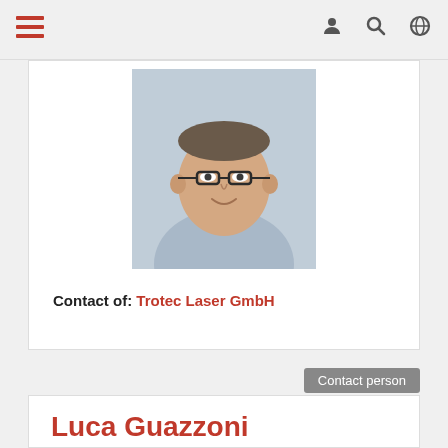Navigation bar with hamburger menu and icons
[Figure (photo): Headshot photo of a middle-aged man wearing glasses and a light blue shirt, smiling, against a light grey background]
Contact of: Trotec Laser GmbH
Contact person
Luca Guazzoni
VP Sales - Italy
Apex Italy